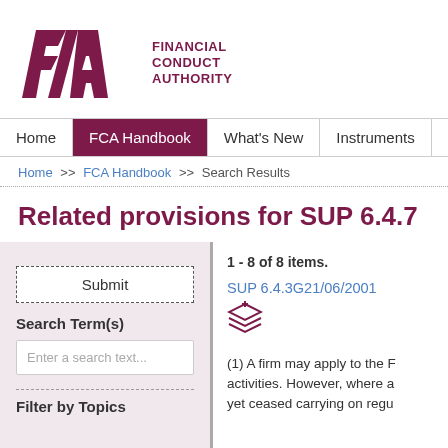[Figure (logo): FCA (Financial Conduct Authority) logo with purple parallelogram F and shield A shape, and text FINANCIAL CONDUCT AUTHORITY]
Home | FCA Handbook | What's New | Instruments | Forms | G
Home >> FCA Handbook >> Search Results
Related provisions for SUP 6.4.7
1 - 8 of 8 items.
Submit
Search Term(s)
Enter a search text...
Filter by Topics
SUP 6.4.3G21/06/2001
(1) A firm may apply to the F activities. However, where a yet ceased carrying on regu